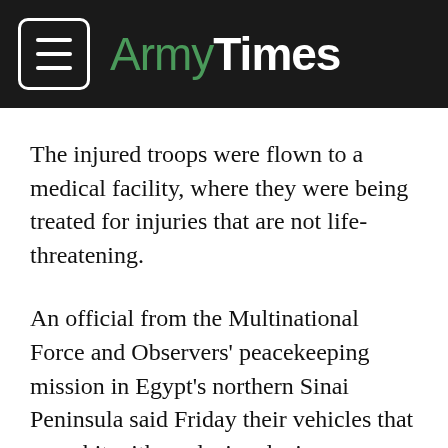ArmyTimes
The injured troops were flown to a medical facility, where they were being treated for injuries that are not life-threatening.
An official from the Multinational Force and Observers' peacekeeping mission in Egypt's northern Sinai Peninsula said Friday their vehicles that were hit with explosive devices are similar to ones used by the Egyptian army, but were painted white.